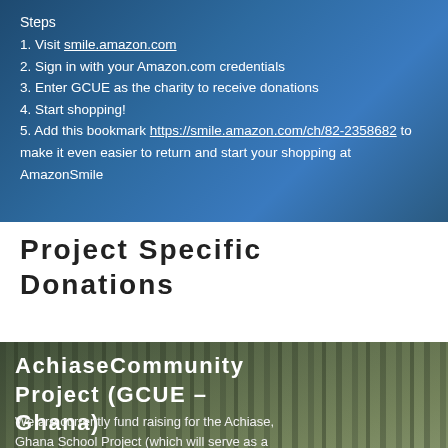Steps
1. Visit smile.amazon.com
2. Sign in with your Amazon.com credentials
3. Enter GCUE as the charity to receive donations
4. Start shopping!
5. Add this bookmark https://smile.amazon.com/ch/82-2358682 to make it even easier to return and start your shopping at AmazonSmile
Project Specific Donations
[Figure (photo): Forest/trees background image with title overlay: AchiaseCommunity Project (GCUE – Ghana)]
We are currently fund raising for the Achiase, Ghana School Project (which will serve as a